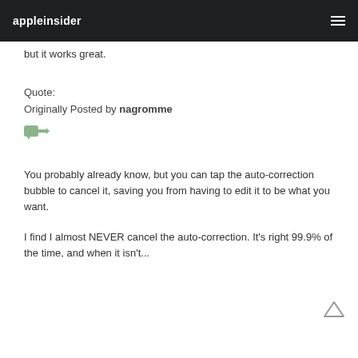appleinsider
but it works great.
Quote:
Originally Posted by nagromme
[Figure (illustration): Small green quote/reply icon with arrow]
You probably already know, but you can tap the auto-correction bubble to cancel it, saving you from having to edit it to be what you want.
I find I almost NEVER cancel the auto-correction. It's right 99.9% of the time, and when it isn't...